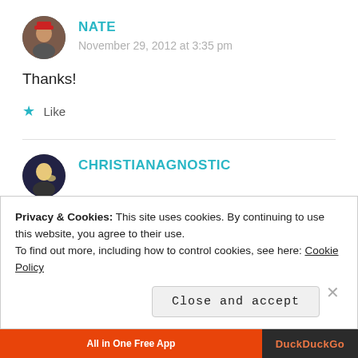[Figure (illustration): Avatar photo of user Nate, a circular profile image showing a person in a red hat]
NATE
November 29, 2012 at 3:35 pm
Thanks!
★ Like
[Figure (illustration): Avatar photo of user ChristianAgnostic, a circular profile image]
CHRISTIANAGNOSTIC
Privacy & Cookies: This site uses cookies. By continuing to use this website, you agree to their use.
To find out more, including how to control cookies, see here: Cookie Policy
Close and accept